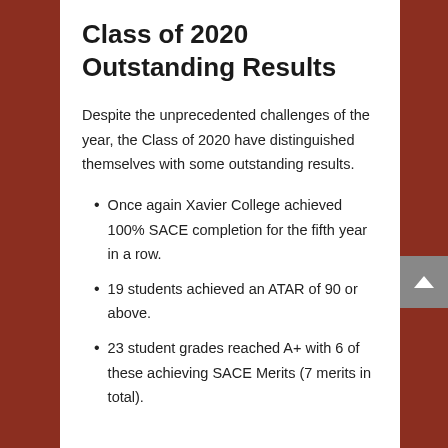Class of 2020 Outstanding Results
Despite the unprecedented challenges of the year, the Class of 2020 have distinguished themselves with some outstanding results.
Once again Xavier College achieved 100% SACE completion for the fifth year in a row.
19 students achieved an ATAR of 90 or above.
23 student grades reached A+ with 6 of these achieving SACE Merits (7 merits in total).